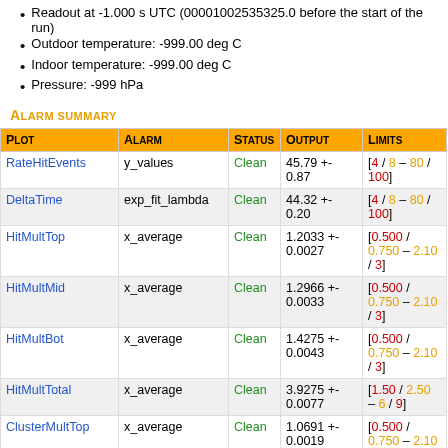Readout at -1.000 s UTC (00001002535325.0 before the start of the run)
Outdoor temperature: -999.00 deg C
Indoor temperature: -999.00 deg C
Pressure: -999 hPa
Alarm summary
| Plot | Alarm | Status | Output | Limits |
| --- | --- | --- | --- | --- |
| RateHitEvents | y_values | Clean | 45.79 +- 0.87 | [4 / 8 – 80 / 100] |
| DeltaTime | exp_fit_lambda | Clean | 44.32 +- 0.20 | [4 / 8 – 80 / 100] |
| HitMultTop | x_average | Clean | 1.2033 +- 0.0027 | [0.500 / 0.750 – 2.10 / 3] |
| HitMultMid | x_average | Clean | 1.2966 +- 0.0033 | [0.500 / 0.750 – 2.10 / 3] |
| HitMultBot | x_average | Clean | 1.4275 +- 0.0043 | [0.500 / 0.750 – 2.10 / 3] |
| HitMultTotal | x_average | Clean | 3.9275 +- 0.0077 | [1.50 / 2.50 – 6 / 9] |
| ClusterMultTop | x_average | Clean | 1.0691 +- 0.0019 | [0.500 / 0.750 – 2.10 / 3] |